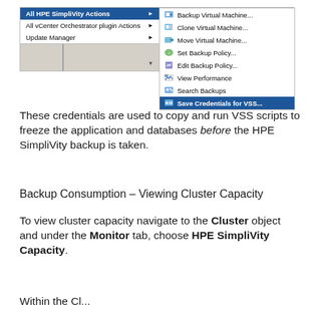[Figure (screenshot): vCenter context menu showing HPE SimpliVity Actions with submenu items including Backup Virtual Machine, Clone Virtual Machine, Move Virtual Machine, Set Backup Policy, Edit Backup Policy, View Performance, Search Backups, and Save Credentials for VSS... (highlighted in blue)]
These credentials are used to copy and run VSS scripts to freeze the application and databases before the HPE SimpliVity backup is taken.
Backup Consumption – Viewing Cluster Capacity
To view cluster capacity navigate to the Cluster object and under the Monitor tab, choose HPE SimpliVity Capacity.
Within the Cl...